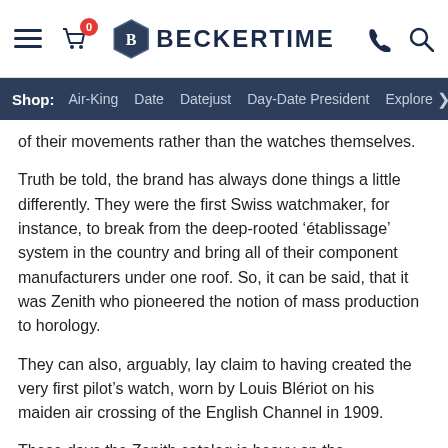BECKERTIME — Shop: Air-King | Date | Datejust | Day-Date President | Explorer >
of their movements rather than the watches themselves.
Truth be told, the brand has always done things a little differently. They were the first Swiss watchmaker, for instance, to break from the deep-rooted ‘établissage’ system in the country and bring all of their component manufacturers under one roof. So, it can be said, that it was Zenith who pioneered the notion of mass production to horology.
They can also, arguably, lay claim to having created the very first pilot’s watch, worn by Louis Blériot on his maiden air crossing of the English Channel in 1909.
These days the Zenith catalog is heavy on the chronographs, as you would expect given their heritage, but they cover a wide range. At one end, the Chronomaster collection offers a glance back at